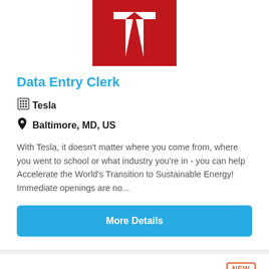[Figure (logo): Tesla logo — white T-shaped logo on a dark red/crimson background]
Data Entry Clerk
Tesla
Baltimore, MD, US
With Tesla, it doesn't matter where you come from, where you went to school or what industry you're in - you can help Accelerate the World's Transition to Sustainable Energy! Immediate openings are no...
More Details
[Figure (logo): Walgreens logo — white cursive W on a red background, partially visible]